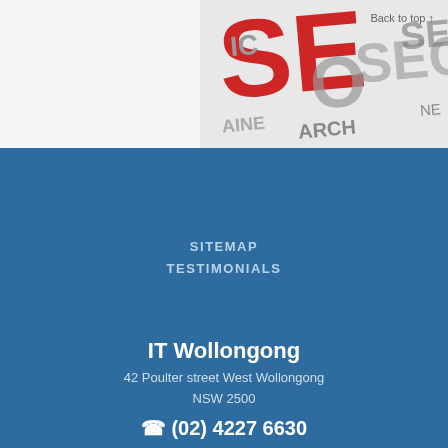[Figure (photo): SEO text/logo image showing 'SEO', 'SEARCH ENGINE' text in red and grey on a white background]
Back to top ↑
SITEMAP
TESTIMONIALS
IT Wollongong
42 Poulter street West Wollongong
NSW 2500
☎ (02) 4227 6630
PRIVACY POLICY